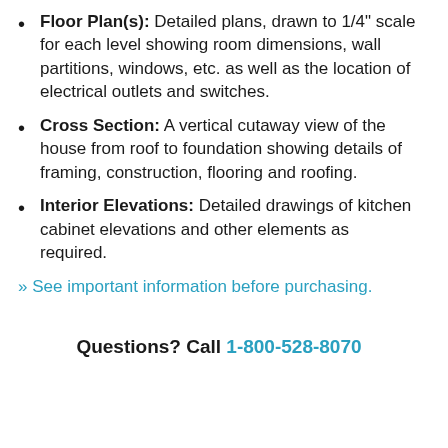Floor Plan(s): Detailed plans, drawn to 1/4" scale for each level showing room dimensions, wall partitions, windows, etc. as well as the location of electrical outlets and switches.
Cross Section: A vertical cutaway view of the house from roof to foundation showing details of framing, construction, flooring and roofing.
Interior Elevations: Detailed drawings of kitchen cabinet elevations and other elements as required.
» See important information before purchasing.
Questions? Call 1-800-528-8070